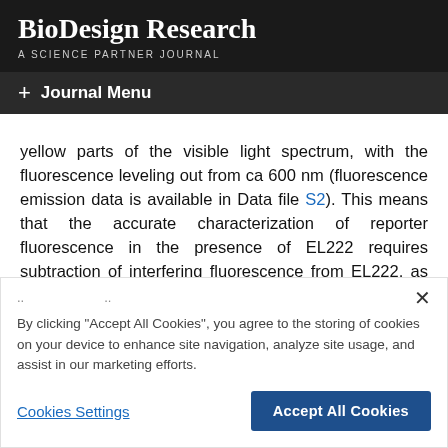BioDesign Research
A SCIENCE PARTNER JOURNAL
+ Journal Menu
yellow parts of the visible light spectrum, with the fluorescence leveling out from ca 600 nm (fluorescence emission data is available in Data file S2). This means that the accurate characterization of reporter fluorescence in the presence of EL222 requires subtraction of interfering fluorescence from EL222, as was done in this study, or the use of red to far-red reporters.
By clicking "Accept All Cookies", you agree to the storing of cookies on your device to enhance site navigation, analyze site usage, and assist in our marketing efforts.